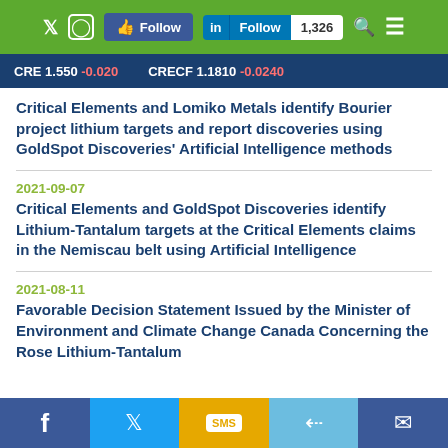CRE 1.550 -0.020   CRECF 1.1810 -0.0240
Critical Elements and Lomiko Metals identify Bourier project lithium targets and report discoveries using GoldSpot Discoveries' Artificial Intelligence methods
2021-09-07
Critical Elements and GoldSpot Discoveries identify Lithium-Tantalum targets at the Critical Elements claims in the Nemiscau belt using Artificial Intelligence
2021-08-11
Favorable Decision Statement Issued by the Minister of Environment and Climate Change Canada Concerning the Rose Lithium-Tantalum